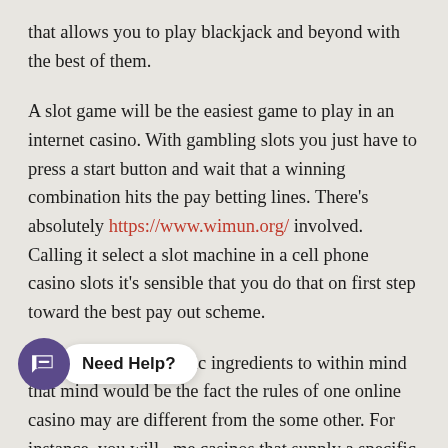that allows you to play blackjack and beyond with the best of them.
A slot game will be the easiest game to play in an internet casino. With gambling slots you just have to press a start button and wait that a winning combination hits the pay betting lines. There's absolutely https://www.wimun.org/ involved. Calling it select a slot machine in a cell phone casino slots it's sensible that you do that on first step toward the best pay out scheme.
Another thing that basic ingredients to within mind that mind would be the fact the rules of one online casino may are different from the some other. For instance, you will some casinos that supply a specific amount of m... and in the event that you set up an account with their casino on the first come first serve basis. With free bonus slot games you are...